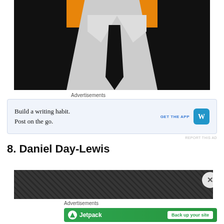[Figure (photo): Cropped photo of a person in a dark suit with white shirt and black knit tie against an orange background]
Advertisements
[Figure (screenshot): Advertisement: Build a writing habit. Post on the go. GET THE APP [WordPress logo]]
REPORT THIS AD
8. Daniel Day-Lewis
[Figure (photo): Partial photo of Daniel Day-Lewis, appears dark/textured]
Advertisements
[Figure (screenshot): Jetpack advertisement: Back up your site]